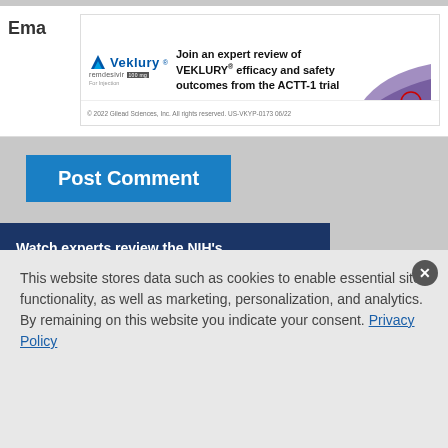[Figure (screenshot): Veklury (remdesivir) advertisement banner: 'Join an expert review of VEKLURY® efficacy and safety outcomes from the ACTT-1 trial' with Gilead logo and copyright notice '© 2022 Gilead Sciences, Inc. All rights reserved. US-VKYP-0173 06/22']
Ema
Post Comment
[Figure (screenshot): Dark blue advertisement panel: 'Watch experts review the NIH's recommendations for VEKLURY® (remdesivir) 100 mg for injection' with two expert doctor portrait photos in black and white at the bottom]
This website stores data such as cookies to enable essential site functionality, as well as marketing, personalization, and analytics. By remaining on this website you indicate your consent. Privacy Policy